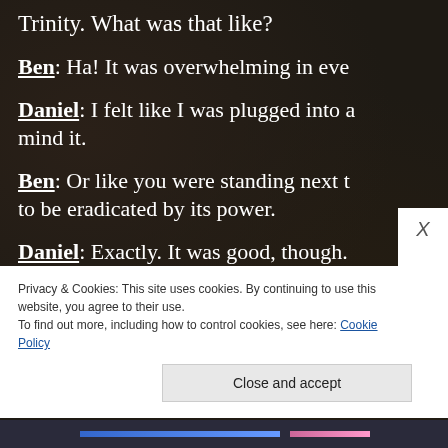Trinity. What was that like?
Ben: Ha! It was overwhelming in eve
Daniel: I felt like I was plugged into a mind it.
Ben: Or like you were standing next to be eradicated by its power.
Daniel: Exactly. It was good, though. experience of my life. I guess I'd say
Privacy & Cookies: This site uses cookies. By continuing to use this website, you agree to their use.
To find out more, including how to control cookies, see here: Cookie Policy
Close and accept